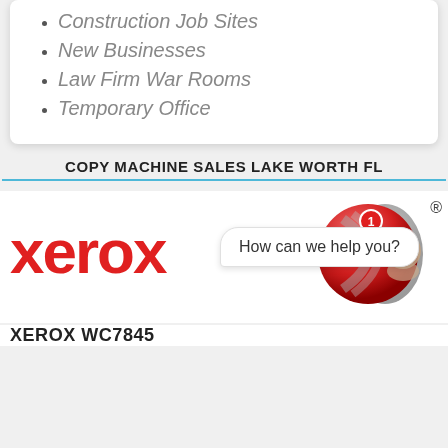Construction Job Sites
New Businesses
Law Firm War Rooms
Temporary Office
COPY MACHINE SALES LAKE WORTH FL
[Figure (logo): Xerox logo in red with circular graphic element, chat bubble saying 'How can we help you?' with person avatar, and registered trademark symbol]
XEROX WC7845